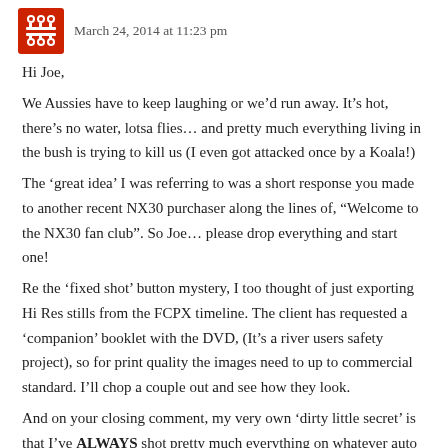[Figure (logo): Red and white avatar/logo icon with circuit-board-like pattern]
March 24, 2014 at 11:23 pm
Hi Joe,
We Aussies have to keep laughing or we’d run away. It’s hot, there’s no water, lotsa flies… and pretty much everything living in the bush is trying to kill us (I even got attacked once by a Koala!)
The ‘great idea’ I was referring to was a short response you made to another recent NX30 purchaser along the lines of, “Welcome to the NX30 fan club”. So Joe… please drop everything and start one!
Re the ‘fixed shot’ button mystery, I too thought of just exporting Hi Res stills from the FCPX timeline. The client has requested a ‘companion’ booklet with the DVD, (It’s a river users safety project), so for print quality the images need to up to commercial standard. I’ll chop a couple out and see how they look.
And on your closing comment, my very own ‘dirty little secret’ is that I’ve ALWAYS shot pretty much everything on whatever auto setting my old, but extremely capable, PDX10 offered up. When I started out making Corporate